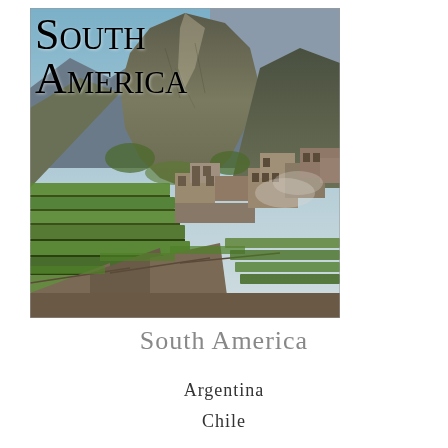[Figure (photo): Aerial view of Machu Picchu ancient Inca ruins with terraced green fields in the foreground and dramatic rocky mountain peaks rising through clouds in the background. The text 'South America' is overlaid in large serif font at the top left of the image.]
South America
South America
Argentina
Chile